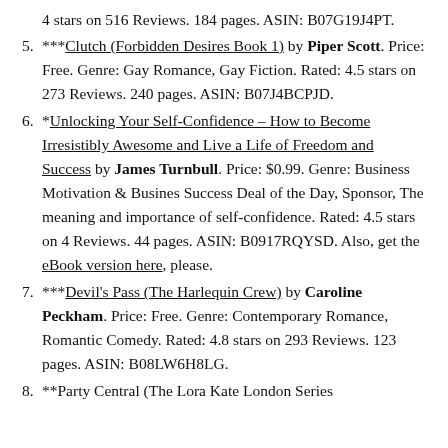4 stars on 516 Reviews. 184 pages. ASIN: B07G19J4PT.
***Clutch (Forbidden Desires Book 1) by Piper Scott. Price: Free. Genre: Gay Romance, Gay Fiction. Rated: 4.5 stars on 273 Reviews. 240 pages. ASIN: B07J4BCPJD.
*Unlocking Your Self-Confidence – How to Become Irresistibly Awesome and Live a Life of Freedom and Success by James Turnbull. Price: $0.99. Genre: Business Motivation & Busines Success Deal of the Day, Sponsor, The meaning and importance of self-confidence. Rated: 4.5 stars on 4 Reviews. 44 pages. ASIN: B0917RQYSD. Also, get the eBook version here, please.
***Devil's Pass (The Harlequin Crew) by Caroline Peckham. Price: Free. Genre: Contemporary Romance, Romantic Comedy. Rated: 4.8 stars on 293 Reviews. 123 pages. ASIN: B08LW6H8LG.
**Party Central (The Lora Kate London Series